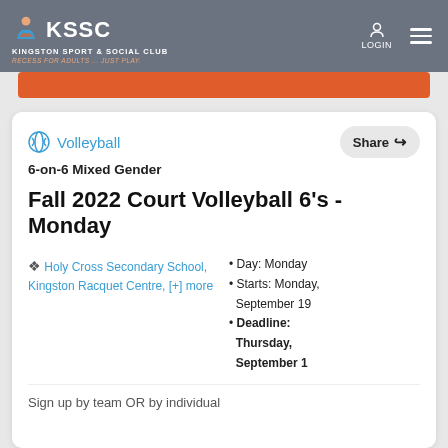KSSC Kingston Sport & Social Club — RECESS FOR ADULTS... JUST PLAY.
[Figure (logo): KSSC volleyball logo with person icon and orange/blue colors]
Volleyball
6-on-6 Mixed Gender
Fall 2022 Court Volleyball 6's - Monday
Holy Cross Secondary School, Kingston Racquet Centre, [+] more
Day: Monday
Starts: Monday, September 19
Deadline: Thursday, September 1
Sign up by team OR by individual